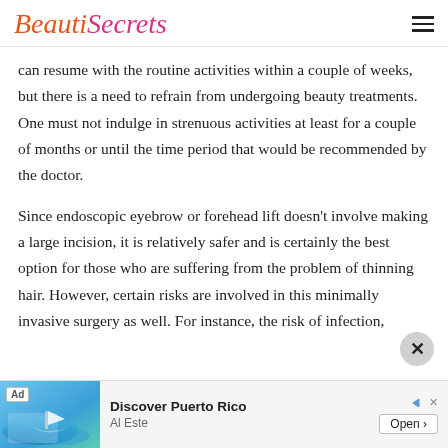BeautiSecrets
can resume with the routine activities within a couple of weeks, but there is a need to refrain from undergoing beauty treatments. One must not indulge in strenuous activities at least for a couple of months or until the time period that would be recommended by the doctor.
Since endoscopic eyebrow or forehead lift doesn't involve making a large incision, it is relatively safer and is certainly the best option for those who are suffering from the problem of thinning hair. However, certain risks are involved in this minimally invasive surgery as well. For instance, the risk of infection,
[Figure (screenshot): Advertisement banner for 'Discover Puerto Rico' showing a tropical beach scene with a sailboat, text 'Ad', 'Discover Puerto Rico', 'Al Este', and an 'Open >' button]